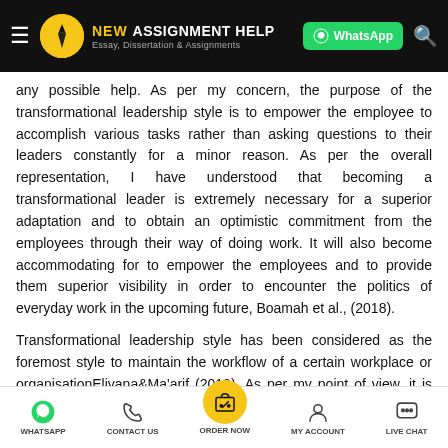NEW ASSIGNMENT HELP — Essay, Dissertation & Assignments
any possible help. As per my concern, the purpose of the transformational leadership style is to empower the employee to accomplish various tasks rather than asking questions to their leaders constantly for a minor reason. As per the overall representation, I have understood that becoming a transformational leader is extremely necessary for a superior adaptation and to obtain an optimistic commitment from the employees through their way of doing work. It will also become accommodating for to empower the employees and to provide them superior visibility in order to encounter the politics of everyday work in the upcoming future, Boamah et al., (2018).
Transformational leadership style has been considered as the foremost style to maintain the workflow of a certain workplace or organisationEliyana&Ma'arif (2019). As per my point of view, it is indeed true that I have to adopt a significant leadership style
WHATSAPP   CONTACT US   ORDER NOW   MY ACCOUNT   LIVE CHAT